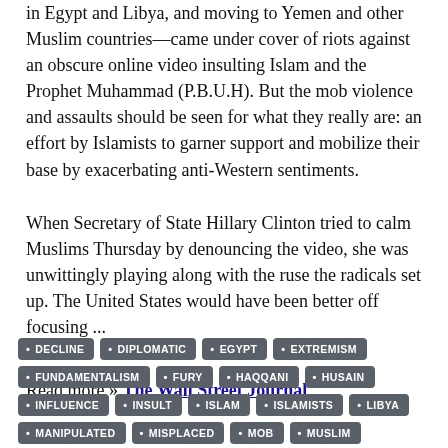in Egypt and Libya, and moving to Yemen and other Muslim countries—came under cover of riots against an obscure online video insulting Islam and the Prophet Muhammad (P.B.U.H). But the mob violence and assaults should be seen for what they really are: an effort by Islamists to garner support and mobilize their base by exacerbating anti-Western sentiments.
When Secretary of State Hillary Clinton tried to calm Muslims Thursday by denouncing the video, she was unwittingly playing along with the ruse the radicals set up. The United States would have been better off focusing ...
Read more » The Wall Street Journal
DECLINE
DIPLOMATIC
EGYPT
EXTREMISM
FUNDAMENTALISM
FURY
HAQQANI
HUSAIN
INFLUENCE
INSULT
ISLAM
ISLAMISTS
LIBYA
MANIPULATED
MISPLACED
MOB
MUSLIM
OUTRAGE
PROPHET